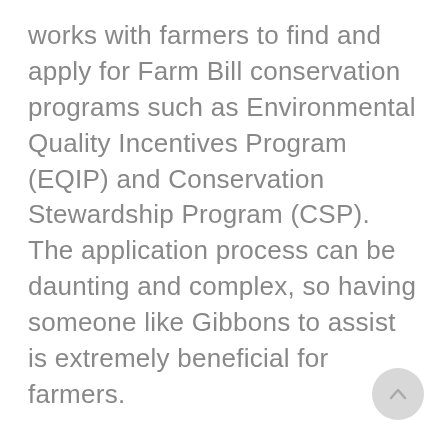works with farmers to find and apply for Farm Bill conservation programs such as Environmental Quality Incentives Program (EQIP) and Conservation Stewardship Program (CSP). The application process can be daunting and complex, so having someone like Gibbons to assist is extremely beneficial for farmers.
Gibbons is not only making a difference on the farm but also at Ottawa Co-op. One farmer she met with hadn't been doing business with the coop for a while, but after Gibbons visited with him, he brought some of his business back. He told Ottawa that having Gibbons was a value-added service the coop provided, and it was her